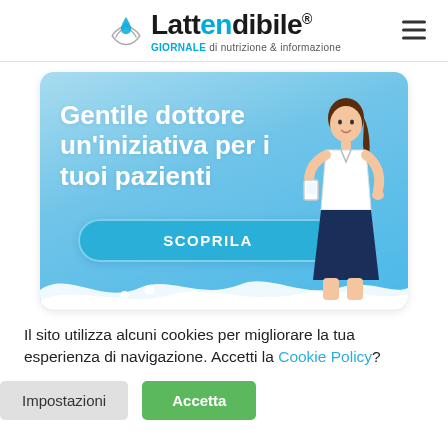[Figure (logo): Lattendibile logo with hands/drop icon and tagline 'GIORNALE di nutrizione & informazione']
[Figure (illustration): Advertisement banner with light blue background showing text 'Gentile dottore un'iniziativa per i tuoi pazienti' with a SCOPRILA button and an illustrated woman holding a glass of milk, with milk splash at bottom]
Il sito utilizza alcuni cookies per migliorare la tua esperienza di navigazione. Accetti la Cookie Policy?
Impostazioni
Accetta